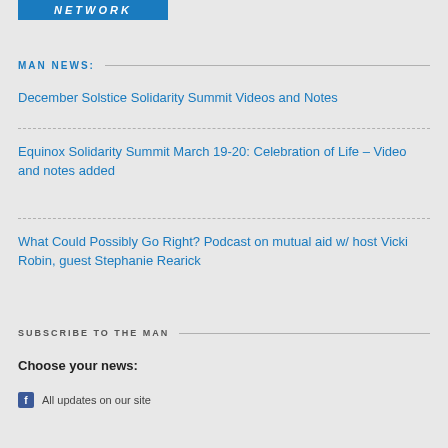[Figure (logo): Blue banner logo with white italic bold text reading NETWORK]
MAN NEWS:
December Solstice Solidarity Summit Videos and Notes
Equinox Solidarity Summit March 19-20: Celebration of Life – Video and notes added
What Could Possibly Go Right? Podcast on mutual aid w/ host Vicki Robin, guest Stephanie Rearick
SUBSCRIBE TO THE MAN
Choose your news:
All updates on our site